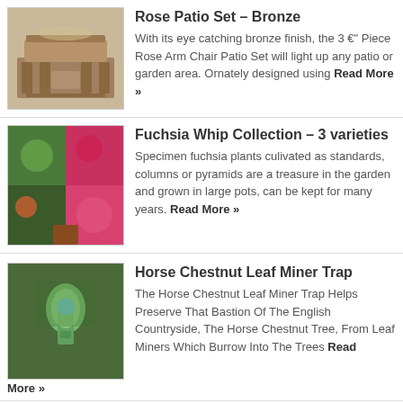[Figure (photo): Patio furniture set with bronze finish]
Rose Patio Set – Bronze
With its eye catching bronze finish, the 3 €" Piece Rose Arm Chair Patio Set will light up any patio or garden area. Ornately designed using Read More »
[Figure (photo): Fuchsia whip collection with pink/red flowers]
Fuchsia Whip Collection – 3 varieties
Specimen fuchsia plants culivated as standards, columns or pyramids are a treasure in the garden and grown in large pots, can be kept for many years. Read More »
[Figure (photo): Horse Chestnut Leaf Miner Trap hanging in tree]
Horse Chestnut Leaf Miner Trap
The Horse Chestnut Leaf Miner Trap Helps Preserve That Bastion Of The English Countryside, The Horse Chestnut Tree, From Leaf Miners Which Burrow Into The Trees Read More »
[Figure (photo): Sweet pea flowers in patriotic red white blue colours]
Sweet Pea 'Flying the Flag'
This impressive collection comprises three specially selected heirloom (Grandiflora) varieties for their patriotic colours and superb fragrance. These colourful small flowered types